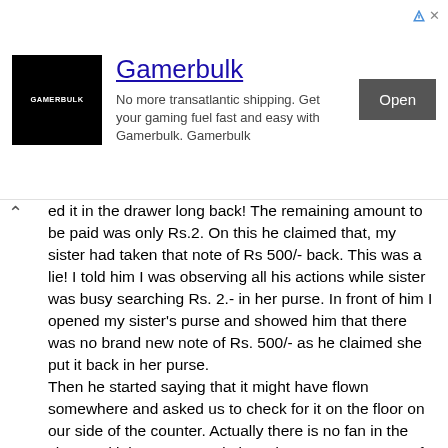[Figure (other): Gamerbulk advertisement banner with black logo, title 'Gamerbulk', description text, and 'Open' button]
ed it in the drawer long back! The remaining amount to be paid was only Rs.2. On this he claimed that, my sister had taken that note of Rs 500/- back. This was a lie! I told him I was observing all his actions while sister was busy searching Rs. 2.- in her purse. In front of him I opened my sister's purse and showed him that there was no brand new note of Rs. 500/- as he claimed she put it back in her purse.
Then he started saying that it might have flown somewhere and asked us to check for it on the floor on our side of the counter. Actually there is no fan in the shop and it has very good glass doors, so no source of breeze. Still we checked for the note and obviously we did not find it. We asked him to check around his side. He pretended not finding it. Then I told him that there was no chance of finding that note anywhere else because he had secured it in his cash drawer with his hand and locked it long back. Then he started claiming that he was opening the cash drawer right then in front of us. Thus, he had conveniently